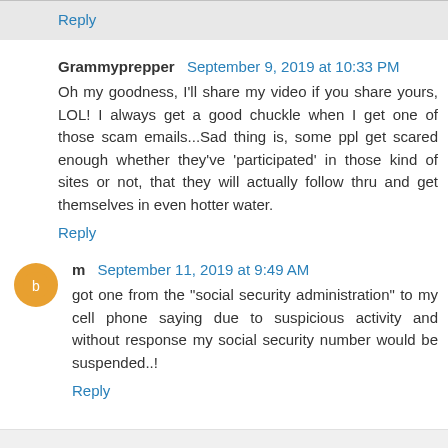Reply
Grammyprepper  September 9, 2019 at 10:33 PM
Oh my goodness, I'll share my video if you share yours, LOL! I always get a good chuckle when I get one of those scam emails...Sad thing is, some ppl get scared enough whether they've 'participated' in those kind of sites or not, that they will actually follow thru and get themselves in even hotter water.
Reply
m  September 11, 2019 at 9:49 AM
got one from the "social security administration" to my cell phone saying due to suspicious activity and without response my social security number would be suspended..!
Reply